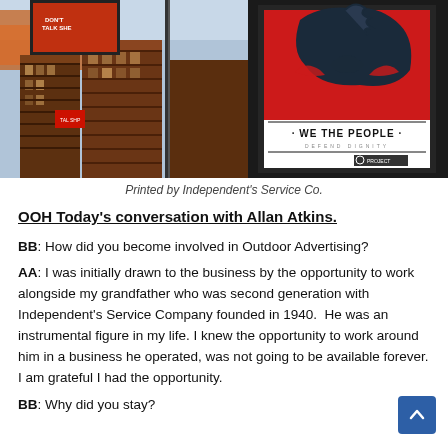[Figure (photo): Street photo showing buildings with billboard on left side, and 'We The People - Defend Dignity' poster artwork on right side with dark horse graphic on red background, with PROJECT logo watermark]
Printed by Independent's Service Co.
OOH Today's conversation with Allan Atkins.
BB: How did you become involved in Outdoor Advertising?
AA: I was initially drawn to the business by the opportunity to work alongside my grandfather who was second generation with Independent's Service Company founded in 1940.  He was an instrumental figure in my life. I knew the opportunity to work around him in a business he operated, was not going to be available forever. I am grateful I had the opportunity.
BB: Why did you stay?